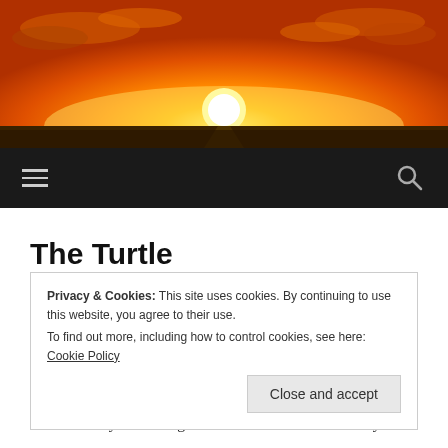[Figure (photo): Sunset photograph showing a bright orange and yellow sun on the horizon over a flat desert road, with dramatic orange clouds in the sky]
≡  🔍
The Turtle
APRIL 15, 2022 / ROBERTCDAY
There are all sorts of things on my mind. They add up to
Privacy & Cookies: This site uses cookies. By continuing to use this website, you agree to their use.
To find out more, including how to control cookies, see here: Cookie Policy
Close and accept
For those of you wishing to know the ins and outs of my